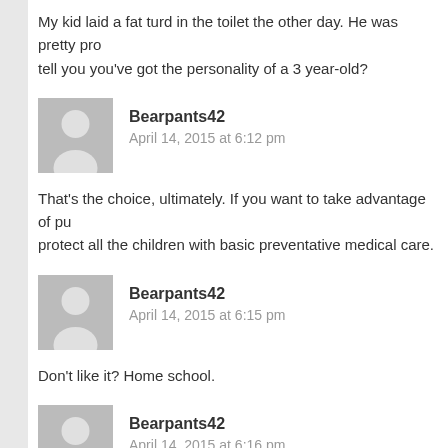My kid laid a fat turd in the toilet the other day. He was pretty pro tell you you've got the personality of a 3 year-old?
Bearpants42
April 14, 2015 at 6:12 pm
That's the choice, ultimately. If you want to take advantage of pu protect all the children with basic preventative medical care.
Bearpants42
April 14, 2015 at 6:15 pm
Don't like it? Home school.
Bearpants42
April 14, 2015 at 6:16 pm
So if we watch some propaganda we'll believe you? Promise?
What do I get if I watch it and still laugh at the anti-science nonse taking advantage of moral panic?